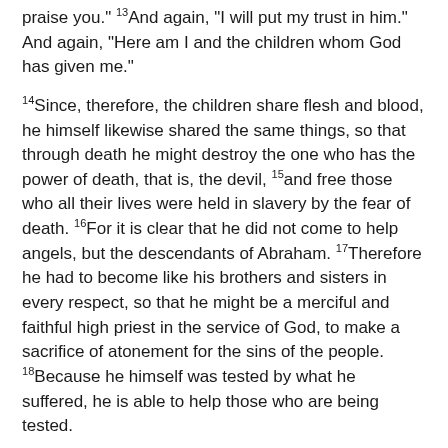praise you." 13And again, "I will put my trust in him." And again, "Here am I and the children whom God has given me."
14Since, therefore, the children share flesh and blood, he himself likewise shared the same things, so that through death he might destroy the one who has the power of death, that is, the devil, 15and free those who all their lives were held in slavery by the fear of death. 16For it is clear that he did not come to help angels, but the descendants of Abraham. 17Therefore he had to become like his brothers and sisters in every respect, so that he might be a merciful and faithful high priest in the service of God, to make a sacrifice of atonement for the sins of the people. 18Because he himself was tested by what he suffered, he is able to help those who are being tested.
Gospel Reading John 12:44-50
44Then Jesus cried aloud: "Whoever believes in me believes not in me but in him who sent me. 45And whoever sees me sees him